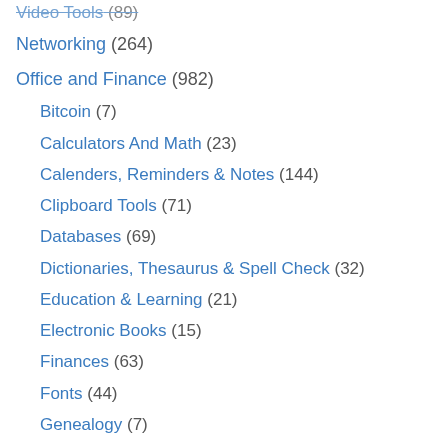Video Tools (89)
Networking (264)
Office and Finance (982)
Bitcoin (7)
Calculators And Math (23)
Calenders, Reminders & Notes (144)
Clipboard Tools (71)
Databases (69)
Dictionaries, Thesaurus & Spell Check (32)
Education & Learning (21)
Electronic Books (15)
Finances (63)
Fonts (44)
Genealogy (7)
Home and Small Business (13)